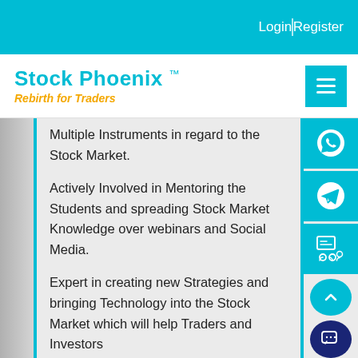Login  |  Register
Stock Phoenix ™
Rebirth for Traders
Multiple Instruments in regard to the Stock Market.
Actively Involved in Mentoring the Students and spreading Stock Market Knowledge over webinars and Social Media.
Expert in creating new Strategies and bringing Technology into the Stock Market which will help Traders and Investors